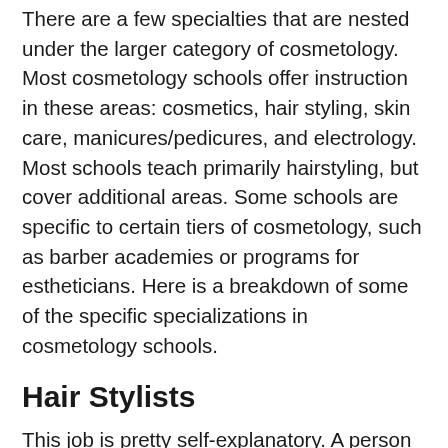There are a few specialties that are nested under the larger category of cosmetology. Most cosmetology schools offer instruction in these areas: cosmetics, hair styling, skin care, manicures/pedicures, and electrology. Most schools teach primarily hairstyling, but cover additional areas. Some schools are specific to certain tiers of cosmetology, such as barber academies or programs for estheticians. Here is a breakdown of some of the specific specializations in cosmetology schools.
Hair Stylists
This job is pretty self-explanatory. A person